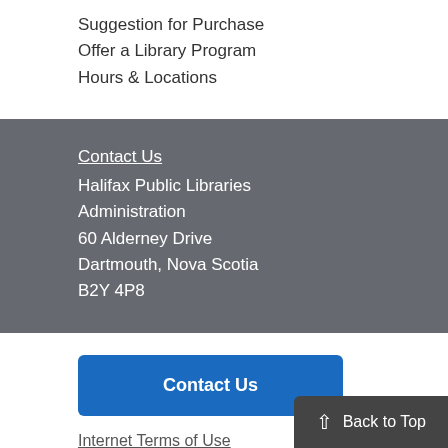Suggestion for Purchase
Offer a Library Program
Hours & Locations
Contact Us
Halifax Public Libraries
Administration
60 Alderney Drive
Dartmouth, Nova Scotia
B2Y 4P8
Contact Us
Internet Terms of Use
Back to Top